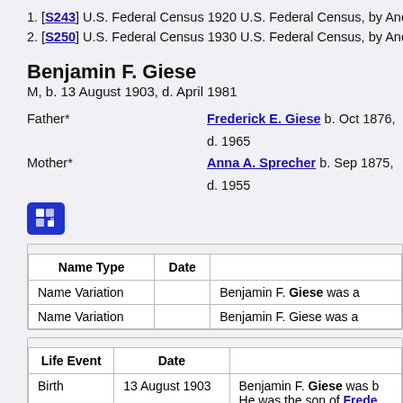1. [S243] U.S. Federal Census 1920 U.S. Federal Census, by Ancestry
2. [S250] U.S. Federal Census 1930 U.S. Federal Census, by Ancestry
Benjamin F. Giese
M, b. 13 August 1903, d. April 1981
Father* Frederick E. Giese b. Oct 1876, d. 1965
Mother* Anna A. Sprecher b. Sep 1875, d. 1955
[Figure (other): Blue icon button with squares/expand symbol]
| Name Type | Date |  |
| --- | --- | --- |
| Name Variation |  | Benjamin F. Giese was a |
| Name Variation |  | Benjamin F. Giese was a |
| Life Event | Date |  |
| --- | --- | --- |
| Birth | 13 August 1903 | Benjamin F. Giese was b
He was the son of Frede |
| Marriage | circa 1925 | Benjamin F. Giese marri |
| Death | April 1981 | Benjamin F. Giese died |